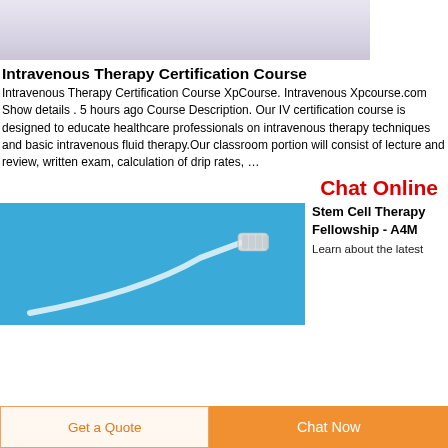[Figure (photo): Top banner image with light purple/lavender gradient background, partial view of an IV therapy related image.]
Intravenous Therapy Certification Course
Intravenous Therapy Certification Course XpCourse. Intravenous Xpcourse.com Show details . 5 hours ago Course Description. Our IV certification course is designed to educate healthcare professionals on intravenous therapy techniques and basic intravenous fluid therapy.Our classroom portion will consist of lecture and review, written exam, calculation of drip rates, …
Chat Online
[Figure (photo): Photo of an IV catheter/cannula tubing on a blue background.]
Stem Cell Therapy Fellowship - A4M
Learn about the latest
Get a Quote
Chat Now